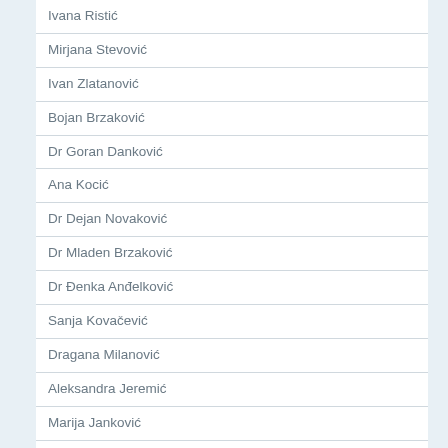Ivana Ristić
Mirjana Stevović
Ivan Zlatanović
Bojan Brzaković
Dr Goran Danković
Ana Kocić
Dr Dejan Novaković
Dr Mladen Brzaković
Dr Đenka Anđelković
Sanja Kovačević
Dragana Milanović
Aleksandra Jeremić
Marija Janković
Dr Milica Pešić
Dr Milena Vukotić